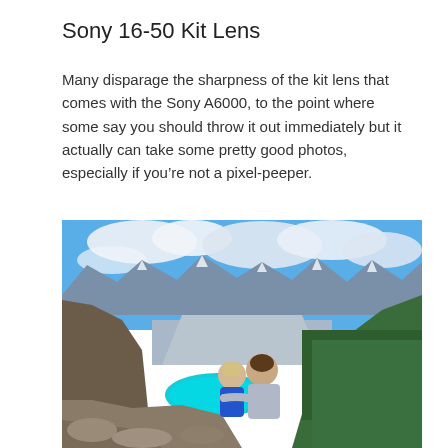Sony 16-50 Kit Lens
Many disparage the sharpness of the kit lens that comes with the Sony A6000, to the point where some say you should throw it out immediately but it actually can take some pretty good photos, especially if you’re not a pixel-peeper.
[Figure (photo): Two people sitting on rocky outcrop overlooking a dramatic mountain valley with a turquoise lake, green forested slopes, and snow-capped peaks under a blue sky with clouds.]